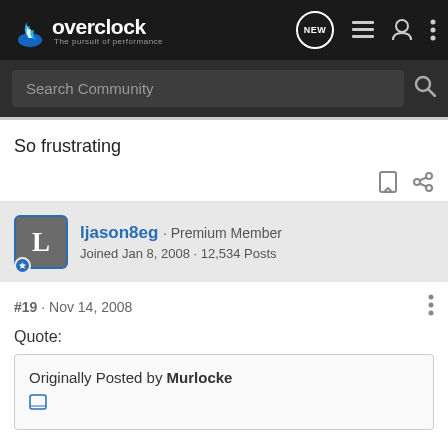overclock · The pursuit of performance
Search Community
So frustrating
ljason8eg · Premium Member
Joined Jan 8, 2008 · 12,534 Posts
#19 · Nov 14, 2008
Quote:
Originally Posted by Murlocke